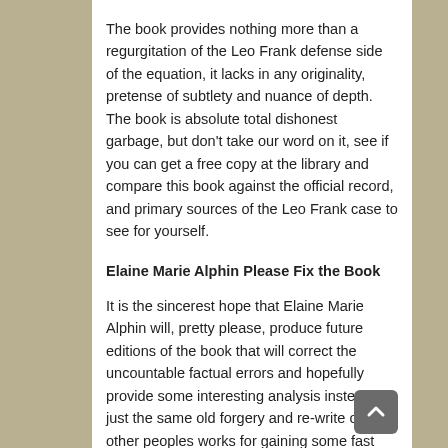The book provides nothing more than a regurgitation of the Leo Frank defense side of the equation, it lacks in any originality, pretense of subtlety and nuance of depth. The book is absolute total dishonest garbage, but don't take our word on it, see if you can get a free copy at the library and compare this book against the official record, and primary sources of the Leo Frank case to see for yourself.
Elaine Marie Alphin Please Fix the Book
It is the sincerest hope that Elaine Marie Alphin will, pretty please, produce future editions of the book that will correct the uncountable factual errors and hopefully provide some interesting analysis instead of just the same old forgery and re-write of other peoples works for gaining some fast and dirty greenbacks. The book in its current form offers